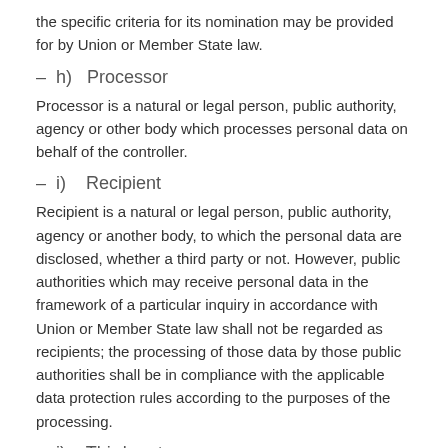the specific criteria for its nomination may be provided for by Union or Member State law.
– h)   Processor
Processor is a natural or legal person, public authority, agency or other body which processes personal data on behalf of the controller.
– i)    Recipient
Recipient is a natural or legal person, public authority, agency or another body, to which the personal data are disclosed, whether a third party or not. However, public authorities which may receive personal data in the framework of a particular inquiry in accordance with Union or Member State law shall not be regarded as recipients; the processing of those data by those public authorities shall be in compliance with the applicable data protection rules according to the purposes of the processing.
– j)    Third party
Third party is a natural or legal person, public authority,